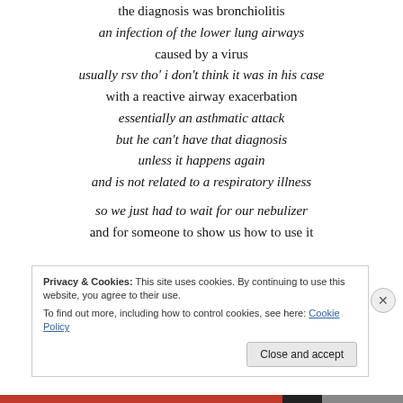the diagnosis was bronchiolitis
an infection of the lower lung airways
caused by a virus
usually rsv tho' i don't think it was in his case
with a reactive airway exacerbation
essentially an asthmatic attack
but he can't have that diagnosis
unless it happens again
and is not related to a respiratory illness
so we just had to wait for our nebulizer
and for someone to show us how to use it
Privacy & Cookies: This site uses cookies. By continuing to use this website, you agree to their use.
To find out more, including how to control cookies, see here: Cookie Policy
Close and accept